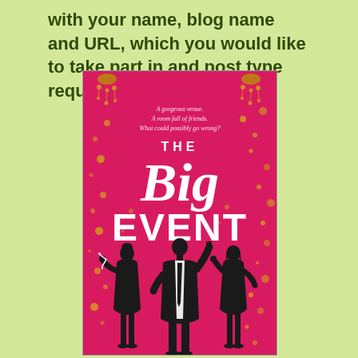with your name, blog name and URL, which you would like to take part in and post type requested.
[Figure (illustration): Book cover for 'The Big Event' featuring a pink/magenta background with gold decorative elements at top corners, subtitle text 'A gorgeous venue. A room full of friends. What could possibly go wrong?', large title text 'THE Big EVENT', and three silhouetted figures in black (two women and one man) holding drinks at the bottom.]